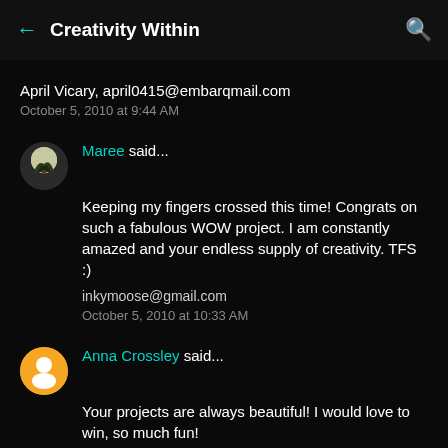Creativity Within
April Vicary, april0415@embarqmail.com
October 5, 2010 at 9:44 AM
Maree said...
Keeping my fingers crossed this time! Congrats on such a fabulous WOW project. I am constantly amazed and your endless supply of creativity. TFS :)
inkymoose@gmail.com
October 5, 2010 at 10:33 AM
Anna Crossley said...
Your projects are always beautiful! I would love to win, so much fun!